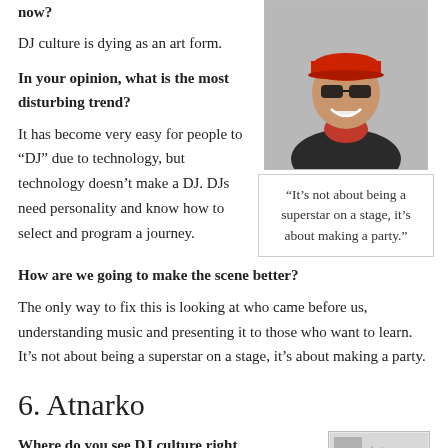now?
DJ culture is dying as an art form.
In your opinion, what is the most disturbing trend?
[Figure (photo): Man wearing red cap and sunglasses, smiling]
"It's not about being a superstar on a stage, it's about making a party."
It has become very easy for people to “DJ” due to technology, but technology doesn’t make a DJ. DJs need personality and know how to select and program a journey.
How are we going to make the scene better?
The only way to fix this is looking at who came before us, understanding music and presenting it to those who want to learn. It’s not about being a superstar on a stage, it’s about making a party.
6. Atnarko
Where do you see DJ culture right